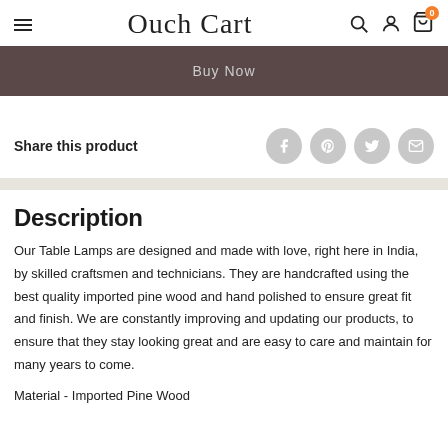Ouch Cart
[Figure (other): Dark brown/mauve buy now button bar]
Share this product
Description

Our Table Lamps are designed and made with love, right here in India, by skilled craftsmen and technicians. They are handcrafted using the best quality imported pine wood and hand polished to ensure great fit and finish. We are constantly improving and updating our products, to ensure that they stay looking great and are easy to care and maintain for many years to come.

Material - Imported Pine Wood